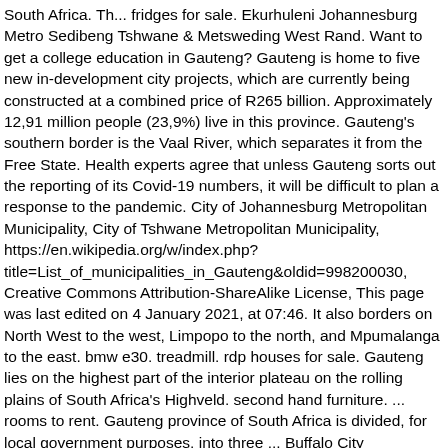South Africa. Th... fridges for sale. Ekurhuleni Johannesburg Metro Sedibeng Tshwane & Metsweding West Rand. Want to get a college education in Gauteng? Gauteng is home to five new in-development city projects, which are currently being constructed at a combined price of R265 billion. Approximately 12,91 million people (23,9%) live in this province. Gauteng's southern border is the Vaal River, which separates it from the Free State. Health experts agree that unless Gauteng sorts out the reporting of its Covid-19 numbers, it will be difficult to plan a response to the pandemic. City of Johannesburg Metropolitan Municipality, City of Tshwane Metropolitan Municipality, https://en.wikipedia.org/w/index.php?title=List_of_municipalities_in_Gauteng&oldid=998200030, Creative Commons Attribution-ShareAlike License, This page was last edited on 4 January 2021, at 07:46. It also borders on North West to the west, Limpopo to the north, and Mpumalanga to the east. bmw e30. treadmill. rdp houses for sale. Gauteng lies on the highest part of the interior plateau on the rolling plains of South Africa's Highveld. second hand furniture. ... rooms to rent. Gauteng province of South Africa is divided, for local government purposes, into three ... Buffalo City Metropolitan, City of Cape Town Metropolitan, City of Ekurhuleni Metropolitan, City of Johannesburg Metropolitan, City of Tshwane Metropolitan, eThekwini Metropolitan, Mangaung Metropolitan, Nelson Mandela Bay Metropolitan, cars under r30000. • Reflecting a younger and more mobile population, Gauteng's average household size is 4.6 this has...